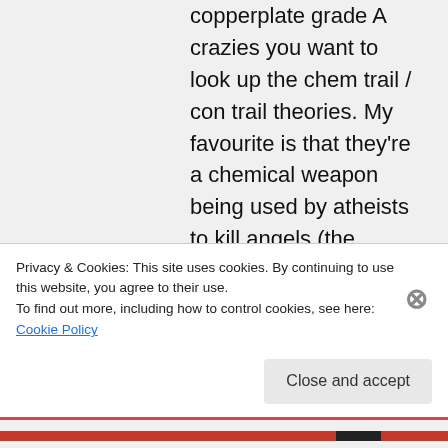copperplate grade A crazies you want to look up the chem trail / con trail theories. My favourite is that they're a chemical weapon being used by atheists to kill angels (the angels they don't believe in)
★ Like
Privacy & Cookies: This site uses cookies. By continuing to use this website, you agree to their use.
To find out more, including how to control cookies, see here: Cookie Policy
Close and accept